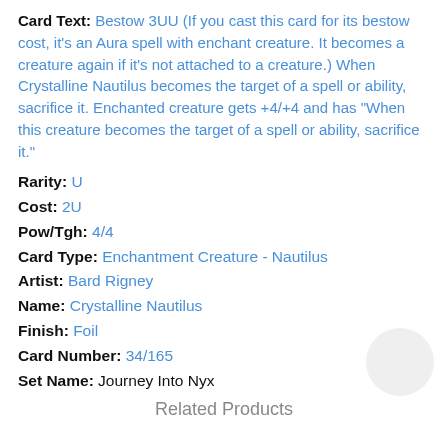Card Text: Bestow 3UU (If you cast this card for its bestow cost, it's an Aura spell with enchant creature. It becomes a creature again if it's not attached to a creature.) When Crystalline Nautilus becomes the target of a spell or ability, sacrifice it. Enchanted creature gets +4/+4 and has "When this creature becomes the target of a spell or ability, sacrifice it."
Rarity: U
Cost: 2U
Pow/Tgh: 4/4
Card Type: Enchantment Creature - Nautilus
Artist: Bard Rigney
Name: Crystalline Nautilus
Finish: Foil
Card Number: 34/165
Set Name: Journey Into Nyx
Related Products